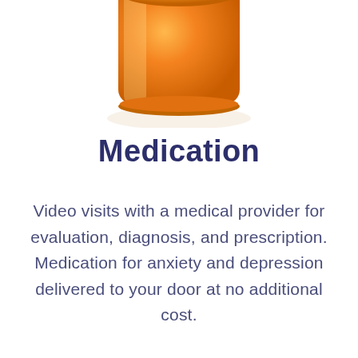[Figure (photo): Bottom portion of an orange prescription pill bottle, cropped at top of page, showing the orange translucent plastic body with a slight shadow/reflection below it on white background.]
Medication
Video visits with a medical provider for evaluation, diagnosis, and prescription. Medication for anxiety and depression delivered to your door at no additional cost.